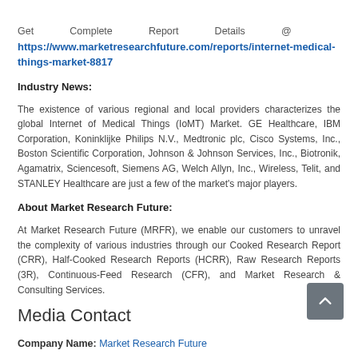Get Complete Report Details @ https://www.marketresearchfuture.com/reports/internet-medical-things-market-8817
Industry News:
The existence of various regional and local providers characterizes the global Internet of Medical Things (IoMT) Market. GE Healthcare, IBM Corporation, Koninklijke Philips N.V., Medtronic plc, Cisco Systems, Inc., Boston Scientific Corporation, Johnson & Johnson Services, Inc., Biotronik, Agamatrix, Sciencesoft, Siemens AG, Welch Allyn, Inc., Wireless, Telit, and STANLEY Healthcare are just a few of the market's major players.
About Market Research Future:
At Market Research Future (MRFR), we enable our customers to unravel the complexity of various industries through our Cooked Research Report (CRR), Half-Cooked Research Reports (HCRR), Raw Research Reports (3R), Continuous-Feed Research (CFR), and Market Research & Consulting Services.
Media Contact
Company Name: Market Research Future
Contact Person: Media Relations